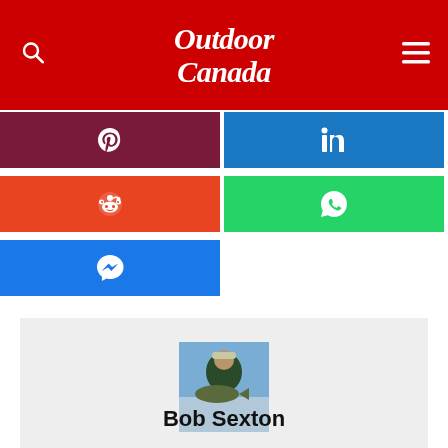Outdoor Canada
[Figure (screenshot): Social share buttons: Pinterest (dark red), LinkedIn (blue), Reddit (orange-red), WhatsApp (green), Messenger (blue)]
[Figure (photo): Author photo of Bob Sexton holding a large fish outdoors in winter]
Bob Sexton